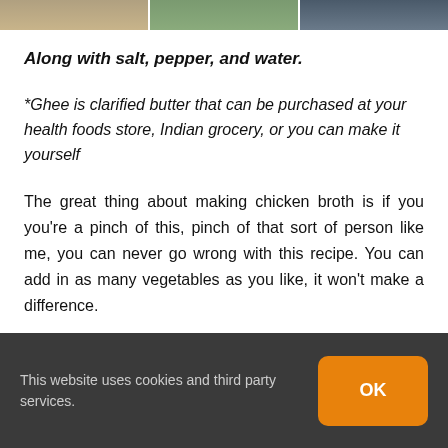[Figure (photo): Three food photos side by side at the top of the page]
Along with salt, pepper, and water.
*Ghee is clarified butter that can be purchased at your health foods store, Indian grocery, or you can make it yourself
The great thing about making chicken broth is if you you're a pinch of this, pinch of that sort of person like me, you can never go wrong with this recipe. You can add in as many vegetables as you like, it won't make a difference.
This website uses cookies and third party services.